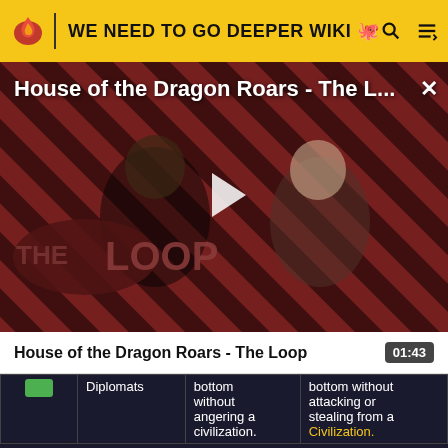WE NEED TO GO DEEPER WIKI
[Figure (screenshot): Video player showing 'House of the Dragon Roars - The L...' with a play button overlay. The video thumbnail shows two characters against a diagonal stripe background with 'THE LOOP' logo text.]
House of the Dragon Roars - The Loop
01:43
|  | Diplomats | bottom without angering a civilization. | bottom without attacking or stealing from a Civilization. |
| --- | --- | --- | --- |
| [green badge] | Diplomats | bottom
without
angering a
civilization. | bottom without
attacking or
stealing from a
Civilization. |